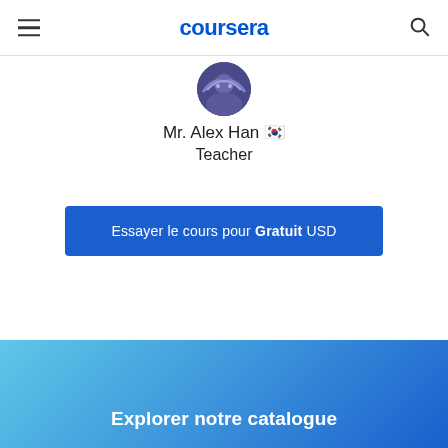coursera
Mr. Alex Han 🇰🇷
Teacher
Essayer le cours pour Gratuit USD
Explorer notre catalogue